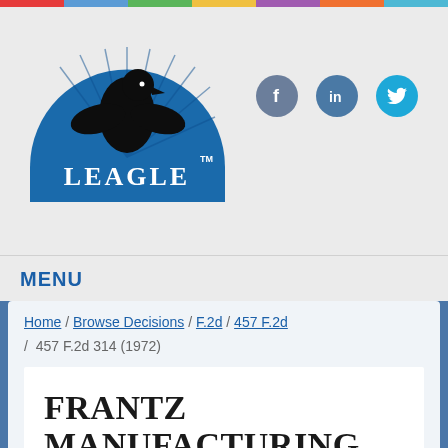[Figure (logo): Leagle.com logo — blue semicircle with eagle silhouette and LEAGLE text in white]
[Figure (infographic): Social media icons: Facebook (grey-blue circle), LinkedIn (blue circle), Twitter (cyan circle)]
MENU
Home / Browse Decisions / F.2d / 457 F.2d / 457 F.2d 314 (1972)
FRANTZ MANUFACTURING CO